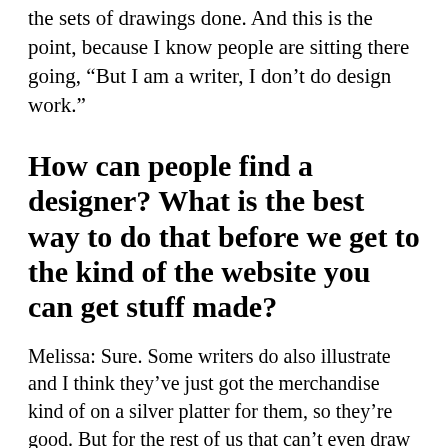the sets of drawings done. And this is the point, because I know people are sitting there going, “But I am a writer, I don’t do design work.”
How can people find a designer? What is the best way to do that before we get to the kind of the website you can get stuff made?
Melissa: Sure. Some writers do also illustrate and I think they’ve just got the merchandise kind of on a silver platter for them, so they’re good. But for the rest of us that can’t even draw sick people, you can do things like for example, go on Fiverr and find people who are designers, illustrators.